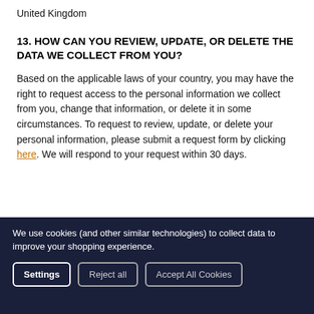United Kingdom
13. HOW CAN YOU REVIEW, UPDATE, OR DELETE THE DATA WE COLLECT FROM YOU?
Based on the applicable laws of your country, you may have the right to request access to the personal information we collect from you, change that information, or delete it in some circumstances. To request to review, update, or delete your personal information, please submit a request form by clicking here. We will respond to your request within 30 days.
We use cookies (and other similar technologies) to collect data to improve your shopping experience.